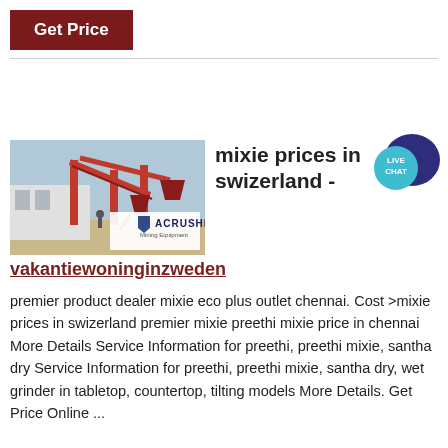Get Price
[Figure (photo): Industrial mining/crushing equipment with conveyor belts and red steel structure, with ACRUSHER Mining Equipment logo overlay. Below the image: vakantiewoninginzweden]
mixie prices in swizerland -
vakantiewoninginzweden
premier product dealer mixie eco plus outlet chennai. Cost >mixie prices in swizerland premier mixie preethi mixie price in chennai More Details Service Information for preethi, preethi mixie, santha dry Service Information for preethi, preethi mixie, santha dry, wet grinder in tabletop, countertop, tilting models More Details. Get Price Online ...